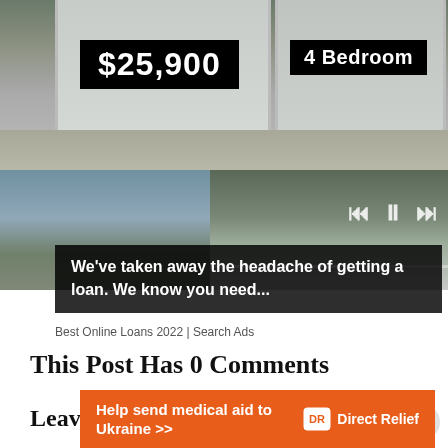[Figure (photo): Two mobile/manufactured homes on a lot with gravel. Left home has a sign reading '$25,900' and right home has a sign reading '4 Bedroom'. Below are two smaller photos showing exterior views of homes with a media player overlay.]
We've taken away the headache of getting a loan. We know you need...
Best Online Loans 2022 | Search Ads
This Post Has 0 Comments
Leave a Reply
[Figure (infographic): Orange Direct Relief donation banner: 'Help send medical aid to Ukraine >>' with Direct Relief logo on right.]